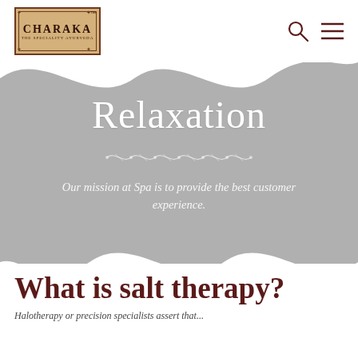[Figure (logo): Charaka The Speciality Ayurveda logo — ornate rectangular badge with brown border on tan/gold background]
[Figure (other): Search icon (magnifying glass) and hamburger menu icon in the top-right navigation bar]
[Figure (infographic): Large wavy gray banner with white text 'Relaxation', a decorative leaf/vine divider ornament, and mission statement text below]
Relaxation
Our mission at Spa is to provide the best customer experience.
What is salt therapy?
Halotherapy or precision specialists assert that...